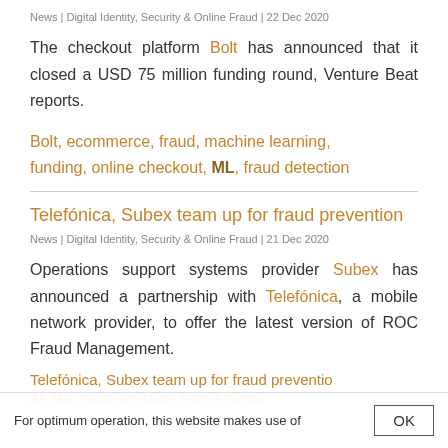News | Digital Identity, Security & Online Fraud | 22 Dec 2020
The checkout platform Bolt has announced that it closed a USD 75 million funding round, Venture Beat reports.
Bolt, ecommerce, fraud, machine learning, funding, online checkout, ML, fraud detection
Telefónica, Subex team up for fraud prevention
News | Digital Identity, Security & Online Fraud | 21 Dec 2020
Operations support systems provider Subex has announced a partnership with Telefónica, a mobile network provider, to offer the latest version of ROC Fraud Management.
For optimum operation, this website makes use of cookies. For more information click here.